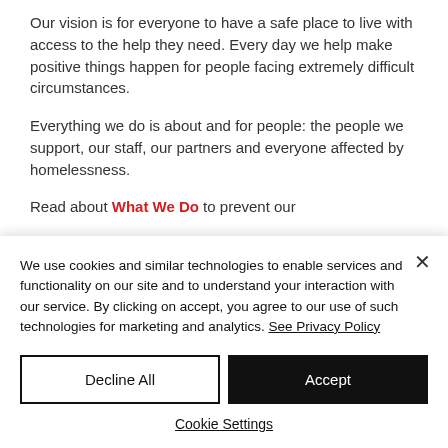Our vision is for everyone to have a safe place to live with access to the help they need. Every day we help make positive things happen for people facing extremely difficult circumstances.
Everything we do is about and for people: the people we support, our staff, our partners and everyone affected by homelessness.
Read about What We Do to prevent our
We use cookies and similar technologies to enable services and functionality on our site and to understand your interaction with our service. By clicking on accept, you agree to our use of such technologies for marketing and analytics. See Privacy Policy
Decline All
Accept
Cookie Settings